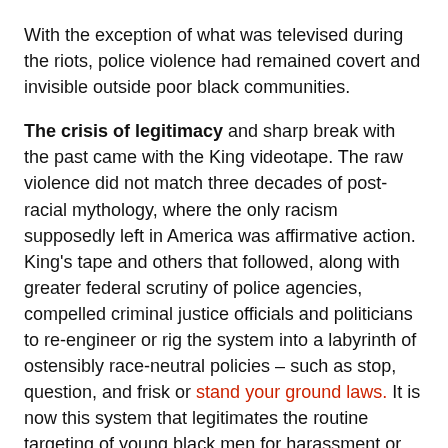With the exception of what was televised during the riots, police violence had remained covert and invisible outside poor black communities.
The crisis of legitimacy and sharp break with the past came with the King videotape. The raw violence did not match three decades of post-racial mythology, where the only racism supposedly left in America was affirmative action. King's tape and others that followed, along with greater federal scrutiny of police agencies, compelled criminal justice officials and politicians to re-engineer or rig the system into a labyrinth of ostensibly race-neutral policies – such as stop, question, and frisk or stand your ground laws. It is now this system that legitimates the routine targeting of young black men for harassment or violence and that is now under attack as witnessed by yesterday's silent march in New York City.
Three years ago, before his memoir was published, King